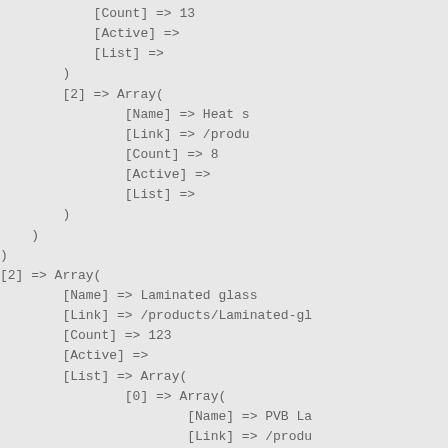[Count] => 13
            [Active] =>
            [List] =>
        )
        [2] => Array(
                [Name] => Heat s
                [Link] => /produ
                [Count] => 8
                [Active] =>
                [List] =>
        )
    )
)
[2] => Array(
        [Name] => Laminated glass
        [Link] => /products/Laminated-gl
        [Count] => 123
        [Active] =>
        [List] => Array(
                [0] => Array(
                        [Name] => PVB La
                        [Link] => /produ
                        [Count] => 101
                        [Active] =>